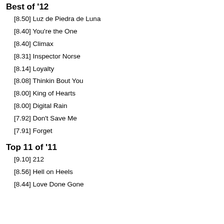Best of '12
[8.50] Luz de Piedra de Luna
[8.40] You're the One
[8.40] Climax
[8.31] Inspector Norse
[8.14] Loyalty
[8.08] Thinkin Bout You
[8.00] King of Hearts
[8.00] Digital Rain
[7.92] Don't Save Me
[7.91] Forget
Top 11 of '11
[9.10] 212
[8.56] Hell on Heels
[8.44] Love Done Gone